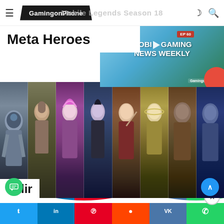GamingonPhone — Mobile Legends Season 18
Meta Heroes
[Figure (screenshot): Mobile Gaming News Weekly EP 60 video thumbnail with play button overlay]
[Figure (illustration): Mobile Legends hero character strip showing 8 heroes in vertical panels with dark fantasy art style]
Valir
Social share bar: Twitter, LinkedIn, Pinterest, Reddit, VK, WhatsApp